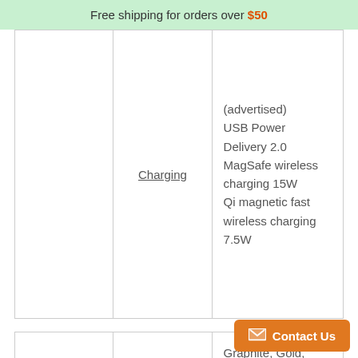Free shipping for orders over $50
|  | Charging | (advertised) USB Power Delivery 2.0 MagSafe wireless charging 15W Qi magnetic fast wireless charging 7.5W |
| MISC | Colors | Graphite, Gold, Silver, Sierra Blue, Alpine Green |
All of our phones come with a 90 Days Manufactures Warranty.
Includes adapter and charging cable. Does